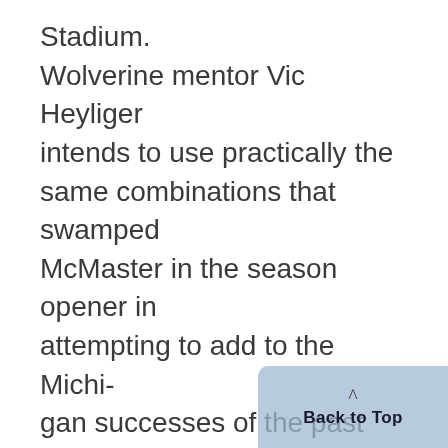Stadium. Wolverine mentor Vic Heyliger intends to use practically the same combinations that swamped McMaster in the season opener in attempting to add to the Michigan successes of the past two years. THE FRONT line of Neil Celley, Gil Burford and Wally Grant, which racked up 15 points against McMaster on eight goals and seven assists, will get another chance to add to their honors under the